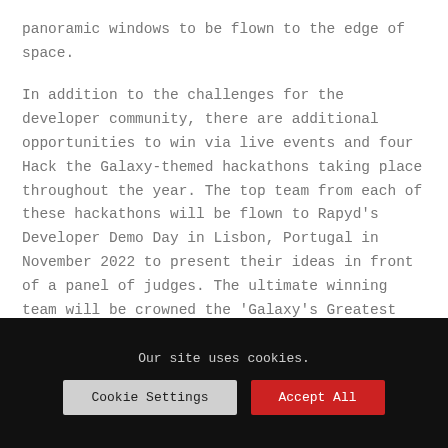panoramic windows to be flown to the edge of space.
In addition to the challenges for the developer community, there are additional opportunities to win via live events and four Hack the Galaxy-themed hackathons taking place throughout the year. The top team from each of these hackathons will be flown to Rapyd’s Developer Demo Day in Lisbon, Portugal in November 2022 to present their ideas in front of a panel of judges. The ultimate winning team will be crowned the ‘Galaxy’s Greatest Fintech Developers’ and be rewarded with the trip to the edge of space. Winners may also opt to choose a cash alternative prize of $130,000. Rapyd encourages anyone from eligible countries to join the
Our site uses cookies.
Cookie Settings
Accept All